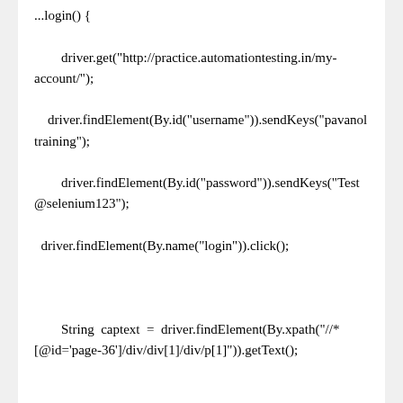...login() {
        driver.get("http://practice.automationtesting.in/my-account/");
    driver.findElement(By.id("username")).sendKeys("pavanoltraining");
        driver.findElement(By.id("password")).sendKeys("Test@selenium123");
  driver.findElement(By.name("login")).click();

        String captext = driver.findElement(By.xpath("//*[@id='page-36']/div/div[1]/div/p[1]")).getText();

  if (captext.contains("pavanoltraining")) {
   System.out.println("Test passed");
  } else {
   System.out.println("Test failed");
  }


  driver.close();